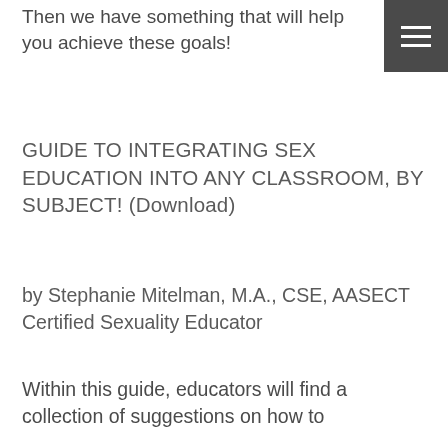Then we have something that will help you achieve these goals!
GUIDE TO INTEGRATING SEX EDUCATION INTO ANY CLASSROOM, BY SUBJECT! (Download)
by Stephanie Mitelman, M.A., CSE, AASECT Certified Sexuality Educator
Within this guide, educators will find a collection of suggestions on how to